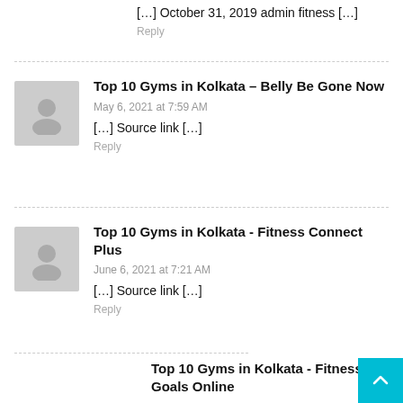[…] October 31, 2019 admin fitness […]
Reply
Top 10 Gyms in Kolkata – Belly Be Gone Now
May 6, 2021 at 7:59 AM
[…] Source link […]
Reply
Top 10 Gyms in Kolkata - Fitness Connect Plus
June 6, 2021 at 7:21 AM
[…] Source link […]
Reply
Top 10 Gyms in Kolkata - Fitness Goals Online